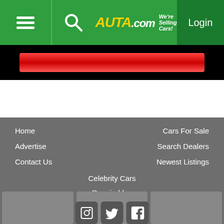[Figure (logo): Auta.com website header with hamburger menu, search icon, logo reading 'AUTA.com We're Selling Cars!' in yellow and white on green background, and Login button on dark green right panel]
[Figure (other): Black banner area with a red gradient horizontal bar/advertisement placeholder]
[Figure (other): White empty content area]
Home
Advertise
Contact Us
Cars For Sale
Search Dealers
Newest Listings
Celebrity Cars
Repairables
Motorcycles
[Figure (screenshot): Footer area with three gray thumbnail boxes and three social media icons (photo/image, Twitter bird, Facebook)]